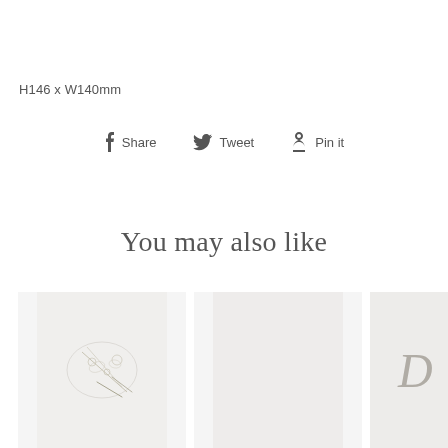H146 x W140mm
Share   Tweet   Pin it
You may also like
[Figure (photo): Product thumbnail image 1 - greeting card with delicate floral/leaf illustration]
[Figure (photo): Product thumbnail image 2 - plain light grey/white card]
[Figure (photo): Product thumbnail image 3 - partial view of card with letter D]